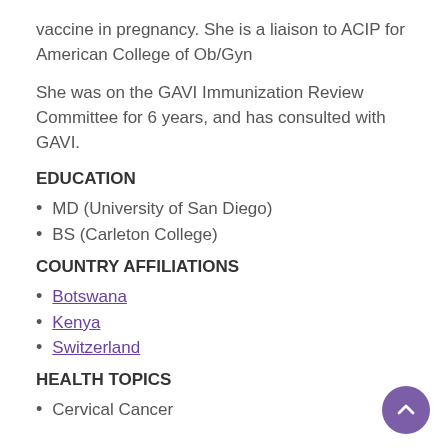vaccine in pregnancy. She is a liaison to ACIP for American College of Ob/Gyn
She was on the GAVI Immunization Review Committee for 6 years, and has consulted with GAVI.
EDUCATION
MD (University of San Diego)
BS (Carleton College)
COUNTRY AFFILIATIONS
Botswana
Kenya
Switzerland
HEALTH TOPICS
Cervical Cancer